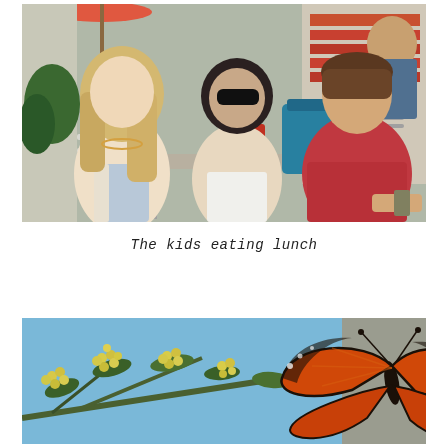[Figure (photo): Three young people sitting outdoors at a cafe table eating lunch. A blonde woman on the left, a woman with sunglasses in the middle, and a man in a red shirt on the right. Teal handbag on the table, red condiment holder visible. Outdoor patio setting with chairs and an umbrella in the background.]
The kids eating lunch
[Figure (photo): Close-up photo of a monarch butterfly with orange and black wings perched on small yellow flowers on a branch, set against a bright blue sky background with a blurred brownish element on the right.]